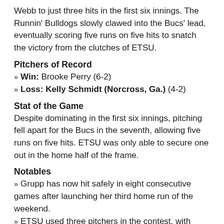Webb to just three hits in the first six innings. The Runnin' Bulldogs slowly clawed into the Bucs' lead, eventually scoring five runs on five hits to snatch the victory from the clutches of ETSU.
Pitchers of Record
» Win: Brooke Perry (6-2)
» Loss: Kelly Schmidt (Norcross, Ga.) (4-2)
Stat of the Game
Despite dominating in the first six innings, pitching fell apart for the Bucs in the seventh, allowing five runs on five hits. ETSU was only able to secure one out in the home half of the frame.
Notables
» Grupp has now hit safely in eight consecutive games after launching her third home run of the weekend.
» ETSU used three pitchers in the contest, with Schmidt taking the loss after giving up two runs on three hits.
» The Bucs dropped their first game when leading after the